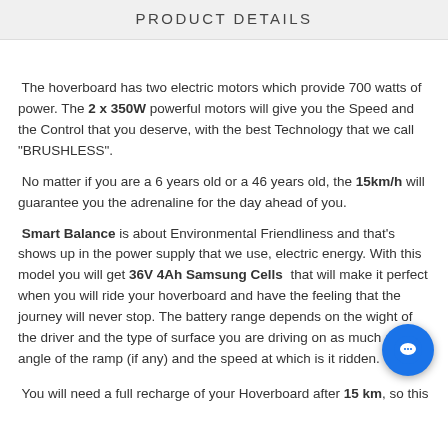PRODUCT DETAILS
The hoverboard has two electric motors which provide 700 watts of power. The 2 x 350W powerful motors will give you the Speed and the Control that you deserve, with the best Technology that we call "BRUSHLESS".
No matter if you are a 6 years old or a 46 years old, the 15km/h will guarantee you the adrenaline for the day ahead of you.
Smart Balance is about Environmental Friendliness and that's shows up in the power supply that we use, electric energy. With this model you will get 36V 4Ah Samsung Cells that will make it perfect when you will ride your hoverboard and have the feeling that the journey will never stop. The battery range depends on the wight of the driver and the type of surface you are driving on as much as the angle of the ramp (if any) and the speed at which is it ridden.
You will need a full recharge of your Hoverboard after 15 km, so this